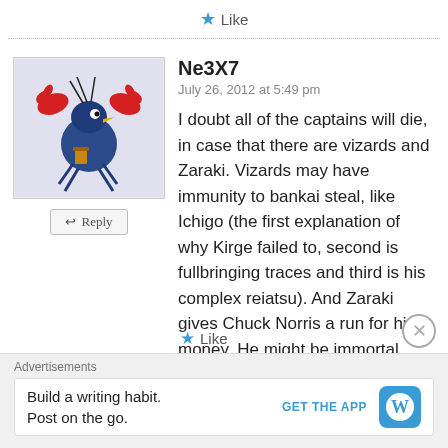Like
Ne3X7
July 26, 2012 at 5:49 pm
I doubt all of the captains will die, in case that there are vizards and Zaraki. Vizards may have immunity to bankai steal, like Ichigo (the first explanation of why Kirge failed to, second is fullbringing traces and third is his complex reiatsu). And Zaraki gives Chuck Norris a run for his money. He might be immortal though.
Like
Advertisements
Build a writing habit. Post on the go.
GET THE APP